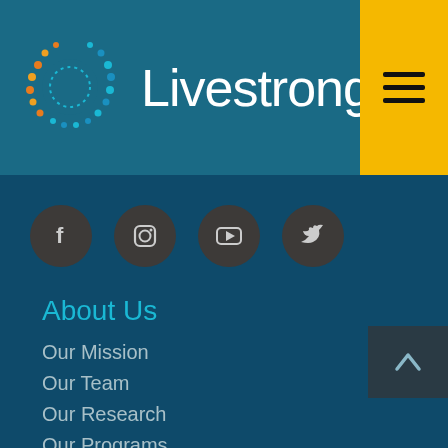[Figure (logo): Livestrong logo with colorful dotted circle and white text 'Livestrong' on teal header bar]
[Figure (infographic): Social media icon buttons: Facebook, Instagram, YouTube, Twitter on dark circular backgrounds]
About Us
Our Mission
Our Team
Our Research
Our Programs
Quick Links
Cancer Support
Shop
Events